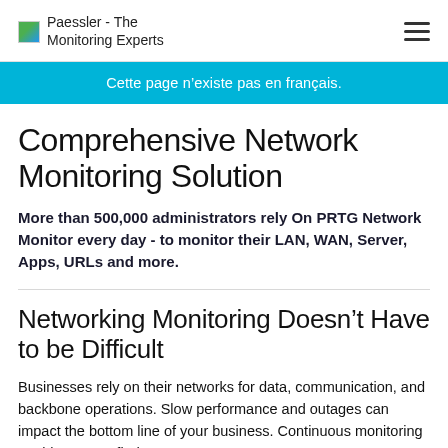Paessler - The Monitoring Experts
Cette page n’existe pas en français.
Comprehensive Network Monitoring Solution
More than 500,000 administrators rely On PRTG Network Monitor every day - to monitor their LAN, WAN, Server, Apps, URLs and more.
Networking Monitoring Doesn’t Have to be Difficult
Businesses rely on their networks for data, communication, and backbone operations. Slow performance and outages can impact the bottom line of your business. Continuous monitoring enables you to find